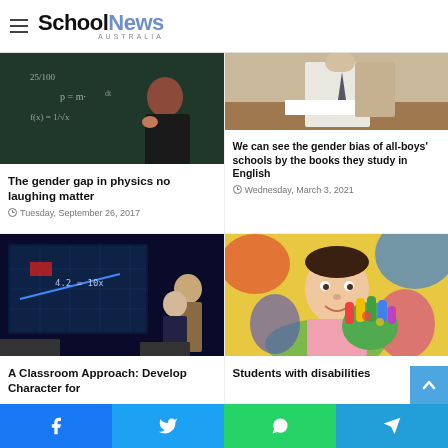SchoolNews AUSTRALIA
[Figure (photo): Student looking at math equations on a blackboard]
The gender gap in physics no laughing matter
Tuesday, September 26, 2017
[Figure (photo): Teacher or professional at a desk reading papers]
We can see the gender bias of all-boys' schools by the books they study in English
Wednesday, March 3, 2021
[Figure (photo): Classroom with a digital math equation on a screen and two teachers]
A Classroom Approach: Develop Character for
[Figure (photo): Young child with Down syndrome showing painted hands]
Students with disabilities